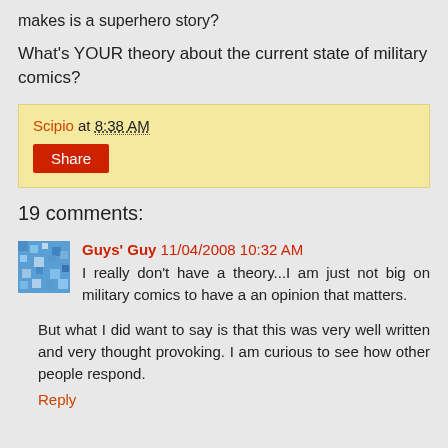makes is a superhero story?
What's YOUR theory about the current state of military comics?
Scipio at 8:38 AM
Share
19 comments:
Guys' Guy 11/04/2008 10:32 AM
I really don't have a theory...I am just not big on military comics to have a an opinion that matters.
But what I did want to say is that this was very well written and very thought provoking. I am curious to see how other people respond.
Reply